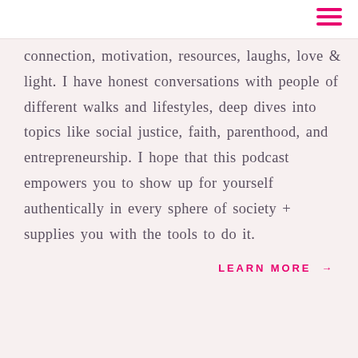connection, motivation, resources, laughs, love & light. I have honest conversations with people of different walks and lifestyles, deep dives into topics like social justice, faith, parenthood, and entrepreneurship. I hope that this podcast empowers you to show up for yourself authentically in every sphere of society + supplies you with the tools to do it.
LEARN MORE →